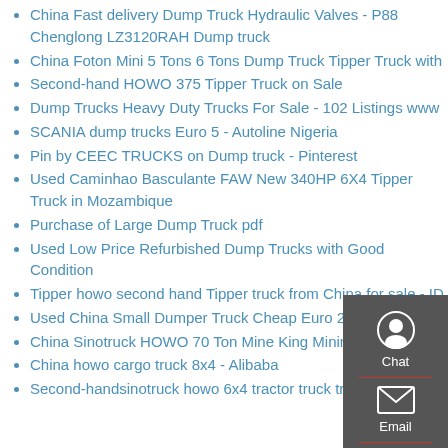China Fast delivery Dump Truck Hydraulic Valves - P88 Chenglong LZ3120RAH Dump truck
China Foton Mini 5 Tons 6 Tons Dump Truck Tipper Truck with
Second-hand HOWO 375 Tipper Truck on Sale
Dump Trucks Heavy Duty Trucks For Sale - 102 Listings www
SCANIA dump trucks Euro 5 - Autoline Nigeria
Pin by CEEC TRUCKS on Dump truck - Pinterest
Used Caminhao Basculante FAW New 340HP 6X4 Tipper Truck in Mozambique
Purchase of Large Dump Truck pdf
Used Low Price Refurbished Dump Trucks with Good Condition
Tipper howo second hand Tipper truck from China for sale - ID
Used China Small Dumper Truck Cheap Euro 2 Mini Dump
China Sinotruck HOWO 70 Ton Mine King Mining Dump
China howo cargo truck 8x4 - Alibaba
Second-handsinotruck howo 6x4 tractor truck trailers for
[Figure (infographic): Side panel with Chat, Email, Contact, and Top buttons on a dark gray background with red dividers and white icons]